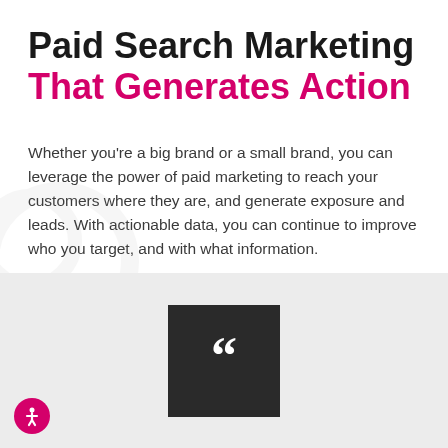Paid Search Marketing That Generates Action
Whether you're a big brand or a small brand, you can leverage the power of paid marketing to reach your customers where they are, and generate exposure and leads. With actionable data, you can continue to improve who you target, and with what information.
[Figure (illustration): Dark square box with large white opening quotation marks, centered on a light gray background section]